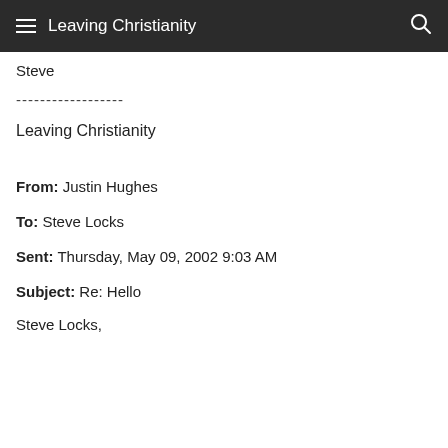Leaving Christianity
Steve
------------------
Leaving Christianity
From: Justin Hughes
To: Steve Locks
Sent: Thursday, May 09, 2002 9:03 AM
Subject: Re: Hello
Steve Locks,